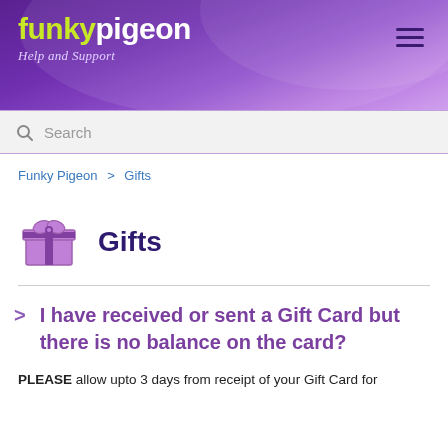funkypigeon Help and Support
Search
Funky Pigeon > Gifts
Gifts
I have received or sent a Gift Card but there is no balance on the card?
PLEASE allow upto 3 days from receipt of your Gift Card for